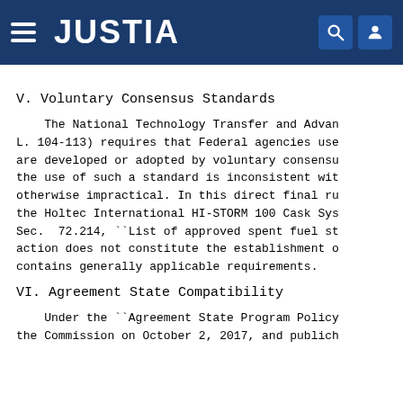JUSTIA
V. Voluntary Consensus Standards
The National Technology Transfer and Advancement Act (Pub. L. 104-113) requires that Federal agencies use technical standards that are developed or adopted by voluntary consensus standards bodies unless the use of such a standard is inconsistent with applicable law or otherwise impractical. In this direct final rule, the NRC is amending the Holtec International HI-STORM 100 Cask System listing in 10 CFR Sec. 72.214, ``List of approved spent fuel storage casks.'' This action does not constitute the establishment of a standard that contains generally applicable requirements.
VI. Agreement State Compatibility
Under the ``Agreement State Program Policy Statement,'' approved by the Commission on October 2, 2017, and publich...